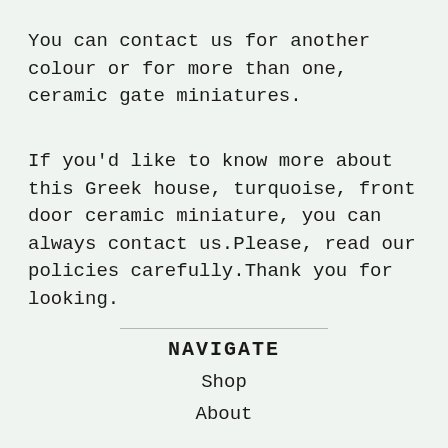You can contact us for another colour or for more than one, ceramic gate miniatures.
If you'd like to know more about this Greek house, turquoise, front door ceramic miniature, you can always contact us.Please, read our policies carefully.Thank you for looking.
NAVIGATE
Shop
About